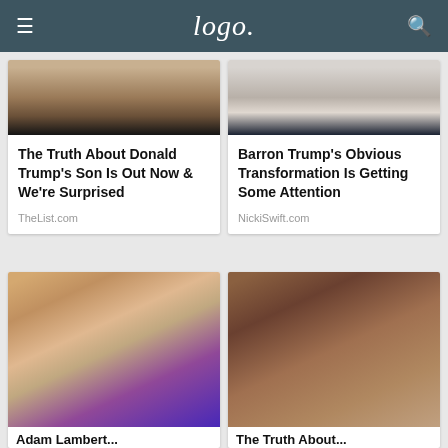Logo
[Figure (photo): Partial photo of a young man in a suit, cropped at chest level]
The Truth About Donald Trump's Son Is Out Now & We're Surprised
TheList.com
[Figure (photo): Partial photo of a young man in a suit with white shirt, cropped at chest level]
Barron Trump's Obvious Transformation Is Getting Some Attention
NickiSwift.com
[Figure (photo): Close-up photo of a man with glittery blue eye makeup and a small beard]
Adam Lambert...
[Figure (photo): Close-up photo of a young woman with round tortoiseshell glasses]
The Truth About...